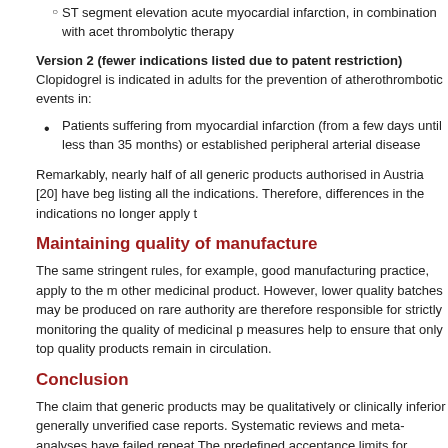ST segment elevation acute myocardial infarction, in combination with acet thrombolytic therapy
Version 2 (fewer indications listed due to patent restriction)
Clopidogrel is indicated in adults for the prevention of atherothrombotic events in:
Patients suffering from myocardial infarction (from a few days until less than 35 months) or established peripheral arterial disease
Remarkably, nearly half of all generic products authorised in Austria [20] have beg listing all the indications. Therefore, differences in the indications no longer apply t
Maintaining quality of manufacture
The same stringent rules, for example, good manufacturing practice, apply to the m other medicinal product. However, lower quality batches may be produced on rare authority are therefore responsible for strictly monitoring the quality of medicinal p measures help to ensure that only top quality products remain in circulation.
Conclusion
The claim that generic products may be qualitatively or clinically inferior generally unverified case reports. Systematic reviews and meta-analyses have failed repeat The predefined acceptance limits for bioequivalence also ensure that plasma conc originator product, a range which is deemed to be clinically irrelevant.